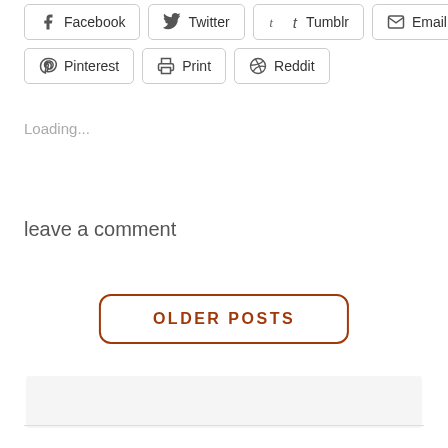[Figure (other): Social share buttons row 1: Facebook, Twitter, Tumblr, Email]
[Figure (other): Social share buttons row 2: Pinterest, Print, Reddit]
Loading...
leave a comment
OLDER POSTS
[Figure (other): Sidebar/widget area background box]